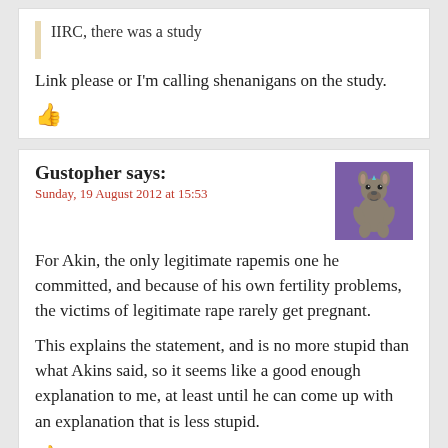IIRC, there was a study
Link please or I'm calling shenanigans on the study.
👍
Gustopher says:
Sunday, 19 August 2012 at 15:53
[Figure (illustration): Avatar image of a cartoon kangaroo on a purple background]
For Akin, the only legitimate rapemis one he committed, and because of his own fertility problems, the victims of legitimate rape rarely get pregnant.
This explains the statement, and is no more stupid than what Akins said, so it seems like a good enough explanation to me, at least until he can come up with an explanation that is less stupid.
👍